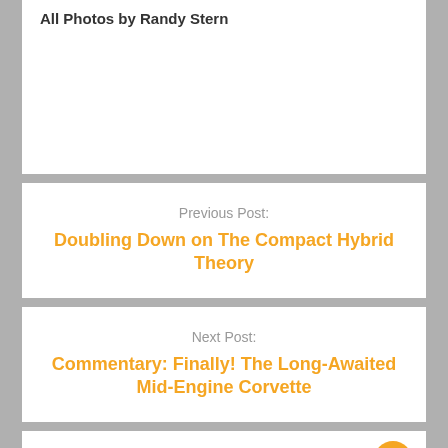All Photos by Randy Stern
Previous Post:
Doubling Down on The Compact Hybrid Theory
Next Post:
Commentary: Finally! The Long-Awaited Mid-Engine Corvette
Leave a Reply